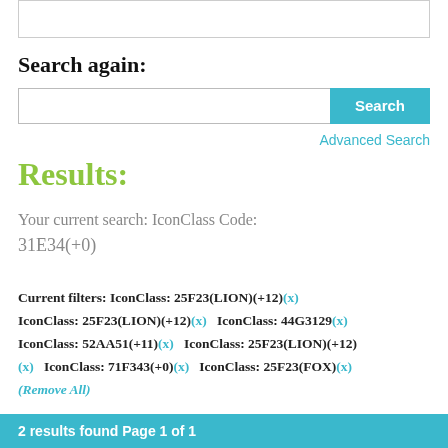Search again:
Search [input box] [Search button] Advanced Search
Results:
Your current search: IconClass Code: 31E34(+0)
Current filters: IconClass: 25F23(LION)(+12)(x) IconClass: 25F23(LION)(+12)(x) IconClass: 44G3129(x) IconClass: 52AA51(+11)(x) IconClass: 25F23(LION)(+12)(x) IconClass: 71F343(+0)(x) IconClass: 25F23(FOX)(x) (Remove All)
2 results found Page 1 of 1